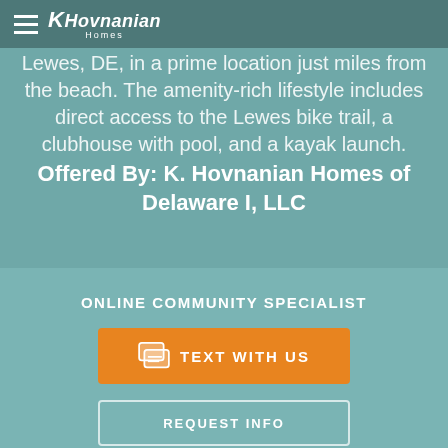K. Hovnanian Homes
Lewes, DE, in a prime location just miles from the beach. The amenity-rich lifestyle includes direct access to the Lewes bike trail, a clubhouse with pool, and a kayak launch.
Offered By: K. Hovnanian Homes of Delaware I, LLC
ONLINE COMMUNITY SPECIALIST
TEXT WITH US
REQUEST INFO